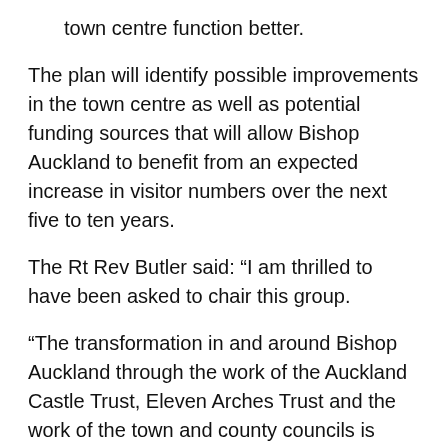town centre function better.
The plan will identify possible improvements in the town centre as well as potential funding sources that will allow Bishop Auckland to benefit from an expected increase in visitor numbers over the next five to ten years.
The Rt Rev Butler said: “I am thrilled to have been asked to chair this group.
“The transformation in and around Bishop Auckland through the work of the Auckland Castle Trust, Eleven Arches Trust and the work of the town and county councils is amongst the most important happening in the UK currently.